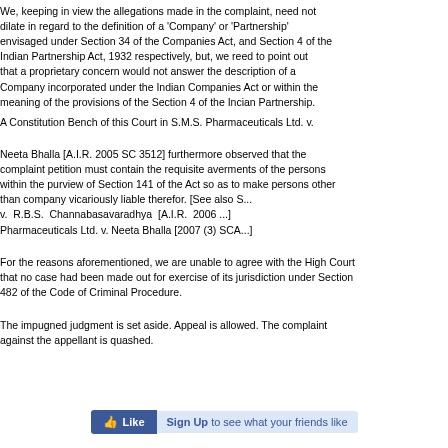We, keeping in view the allegations made in the complaint, need not dilate in regard to the definition of a 'Company' or 'Partnership' envisaged under Section 34 of the Companies Act, and Section 4 of the Indian Partnership Act, 1932 respectively, but, we need to point out that a proprietary concern would not answer the description of a Company incorporated under the Indian Companies Act or within the meaning of the provisions of the Section 4 of the Indian Partnership.
A Constitution Bench of this Court in S.M.S. Pharma...
Neeta Bhalla [A.I.R. 2005 SC 3512] furthermore observed that the complaint petition must contain the requisite averments of the persons within the purview of Section 141 of the Act so as to make persons other than company vicariously liable therefor. [See also S... v. R.B.S. Channabasavaradhya [A.I.R. 2006 ...] and SMS Pharmaceuticals Ltd. v. Neeta Bhalla [2007 (3) SCA...]
For the reasons aforementioned, we are unable to agree with the High Court that no case had been made out for exercise of its jurisdiction under Section 482 of the Code of Criminal Procedure.
The impugned judgment is set aside. Appeal is allowed. The complaint against the appellant is quashed.
[Figure (other): Facebook Like button and Sign Up link]